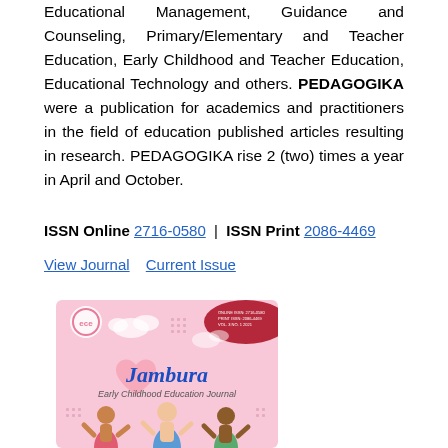Educational Management, Guidance and Counseling, Primary/Elementary and Teacher Education, Early Childhood and Teacher Education, Educational Technology and others. PEDAGOGIKA were a publication for academics and practitioners in the field of education published articles resulting in research. PEDAGOGIKA rise 2 (two) times a year in April and October.
ISSN Online 2716-0580 | ISSN Print 2086-4469
View Journal    Current Issue
[Figure (illustration): Journal cover of Jambura Early Childhood Education Journal, pink-themed with cartoon children illustrations and decorative cloud elements]